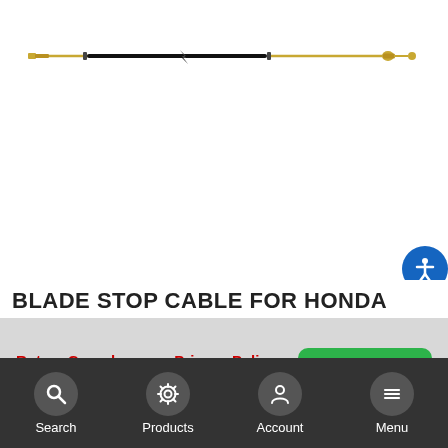[Figure (photo): A blade stop cable for Honda — a long thin cable with brass fittings on both ends and a black sheath in the middle, shown horizontally against a white background.]
BLADE STOP CABLE FOR HONDA
Rotary Corp. has new Privacy Policy effective 08/26/2020. Click here to view.
Got it!
Search   Products   Account   Menu